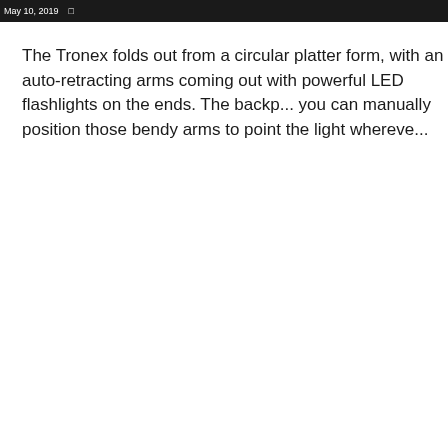May 10, 2018
The Tronex folds out from a circular platter form, with an auto-retracting arms coming out with powerful LED flashlights on the ends. The backp... you can manually position those bendy arms to point the light whereve...